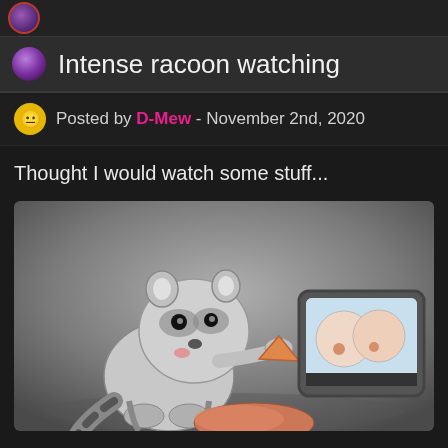Intense racoon watching
Posted by D-Mew - November 2nd, 2020
Thought I would watch some stuff...
[Figure (illustration): Cartoon raccoon holding a piece of food/chip, looking at a screen/monitor showing animated content, with a pillow on the floor nearby]